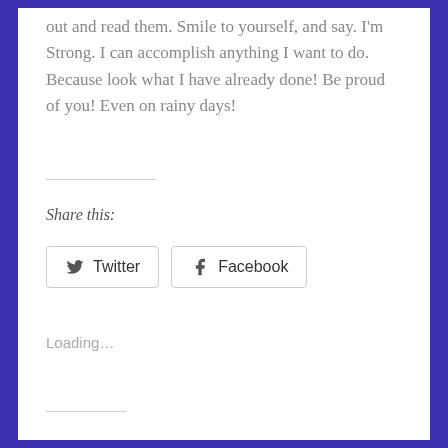out and read them. Smile to yourself, and say. I'm Strong. I can accomplish anything I want to do. Because look what I have already done! Be proud of you! Even on rainy days!
Share this:
[Figure (other): Twitter and Facebook share buttons]
Loading...